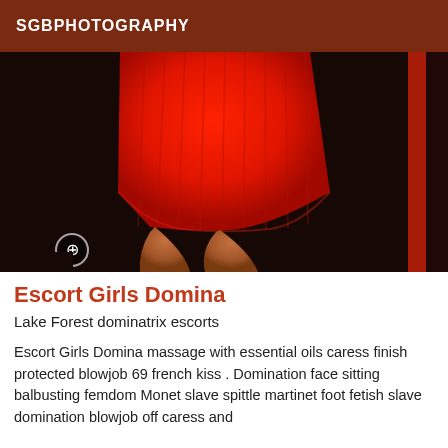SGBPHOTOGRAPHY
[Figure (photo): A person wearing a form-fitting red ribbed dress, showing torso and legs from approximately waist down, photographed in a dark room with a dark background and a narrow vertical red-lit element on the right side.]
Escort Girls Domina
Lake Forest dominatrix escorts
Escort Girls Domina massage with essential oils caress finish protected blowjob 69 french kiss . Domination face sitting balbusting femdom Monet slave spittle martinet foot fetish slave domination blowjob off caress and